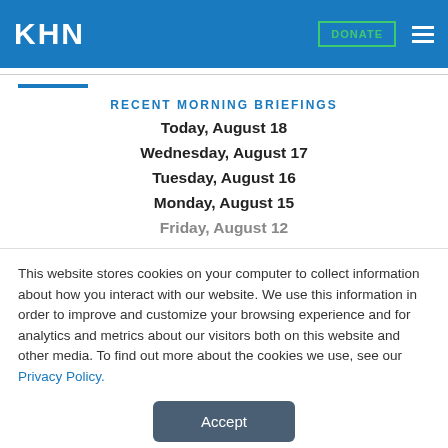KHN | DONATE
RECENT MORNING BRIEFINGS
Today, August 18
Wednesday, August 17
Tuesday, August 16
Monday, August 15
Friday, August 12
This website stores cookies on your computer to collect information about how you interact with our website. We use this information in order to improve and customize your browsing experience and for analytics and metrics about our visitors both on this website and other media. To find out more about the cookies we use, see our Privacy Policy.
Accept